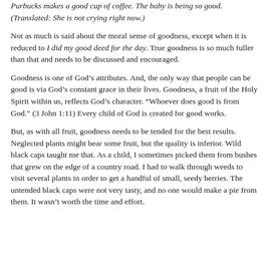Purbucks makes a good cup of coffee. The baby is being so good. (Translated: She is not crying right now.)
Not as much is said about the moral sense of goodness, except when it is reduced to I did my good deed for the day. True goodness is so much fuller than that and needs to be discussed and encouraged.
Goodness is one of God’s attributes. And, the only way that people can be good is via God’s constant grace in their lives. Goodness, a fruit of the Holy Spirit within us, reflects God’s character. “Whoever does good is from God.” (3 John 1:11) Every child of God is created for good works.
But, as with all fruit, goodness needs to be tended for the best results. Neglected plants might bear some fruit, but the quality is inferior. Wild black caps taught me that. As a child, I sometimes picked them from bushes that grew on the edge of a country road. I had to walk through weeds to visit several plants in order to get a handful of small, seedy berries. The untended black caps were not very tasty, and no one would make a pie from them. It wasn’t worth the time and effort.